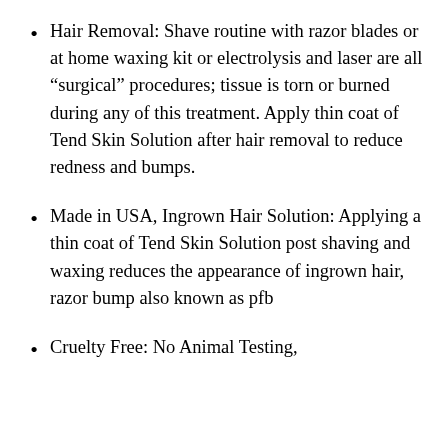Hair Removal: Shave routine with razor blades or at home waxing kit or electrolysis and laser are all “surgical” procedures; tissue is torn or burned during any of this treatment. Apply thin coat of Tend Skin Solution after hair removal to reduce redness and bumps.
Made in USA, Ingrown Hair Solution: Applying a thin coat of Tend Skin Solution post shaving and waxing reduces the appearance of ingrown hair, razor bump also known as pfb
Cruelty Free: No Animal Testing,